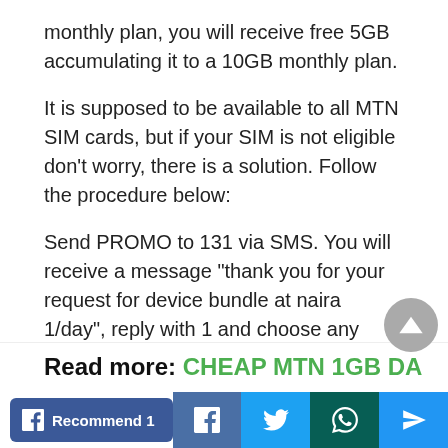monthly plan, you will receive free 5GB accumulating it to a 10GB monthly plan.
It is supposed to be available to all MTN SIM cards, but if your SIM is not eligible don't worry, there is a solution. Follow the procedure below:
Send PROMO to 131 via SMS. You will receive a message “thank you for your request for device bundle at naira 1/day”, reply with 1 and choose any MTN data plan to subscribe.
Read more: CHEAP MTN 1GB DATA
Recommend 1 | Facebook | Twitter | WhatsApp | Telegram